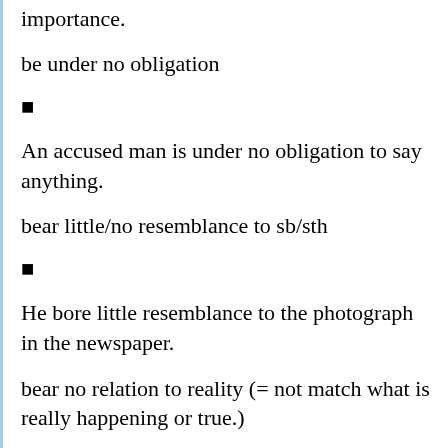importance.
be under no obligation
■
An accused man is under no obligation to say anything.
bear little/no resemblance to sb/sth
■
He bore little resemblance to the photograph in the newspaper.
bear no relation to reality (= not match what is really happening or true.)